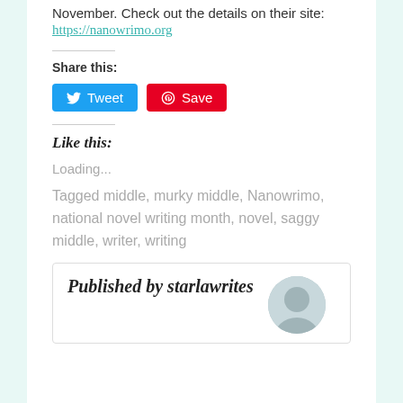November. Check out the details on their site:
https://nanowrimo.org
Share this:
[Figure (other): Tweet and Save social sharing buttons]
Like this:
Loading...
Tagged middle, murky middle, Nanowrimo, national novel writing month, novel, saggy middle, writer, writing
Published by starlawrites